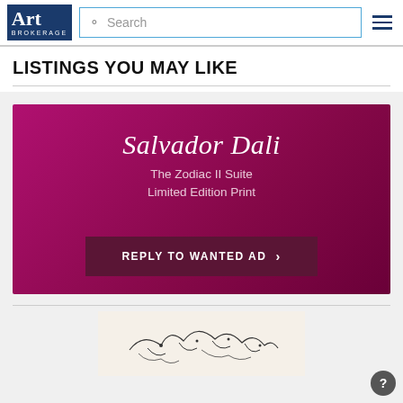Art Brokerage — Search bar and navigation menu
LISTINGS YOU MAY LIKE
[Figure (infographic): Art Brokerage promotional banner for Salvador Dali 'The Zodiac II Suite Limited Edition Print' with 'REPLY TO WANTED AD' button on a magenta/dark pink gradient background]
[Figure (photo): Partial view of a line art illustration, appears to be a sketch of figures on a light beige background]